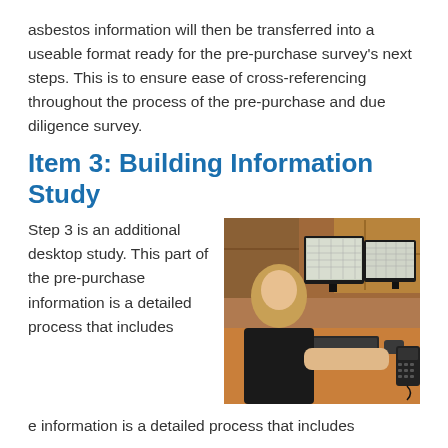asbestos information will then be transferred into a useable format ready for the pre-purchase survey's next steps. This is to ensure ease of cross-referencing throughout the process of the pre-purchase and due diligence survey.
Item 3: Building Information Study
Step 3 is an additional desktop study. This part of the pre-purchase information is a detailed process that includes
[Figure (photo): A person sitting at a desk with two large computer monitors displaying what appears to be technical drawings or building plans in an office environment with cabinets visible in the background.]